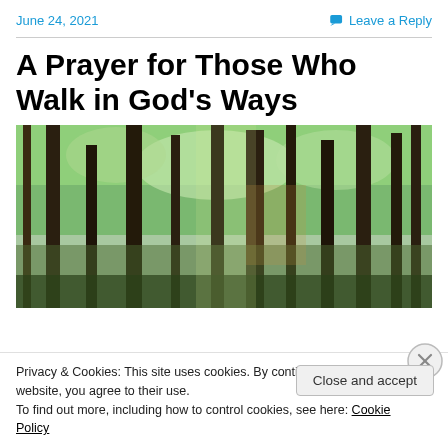June 24, 2021
Leave a Reply
A Prayer for Those Who Walk in God's Ways
[Figure (photo): Forest of tall trees with green foliage, sunlight filtering through the canopy]
Privacy & Cookies: This site uses cookies. By continuing to use this website, you agree to their use.
To find out more, including how to control cookies, see here: Cookie Policy
Close and accept